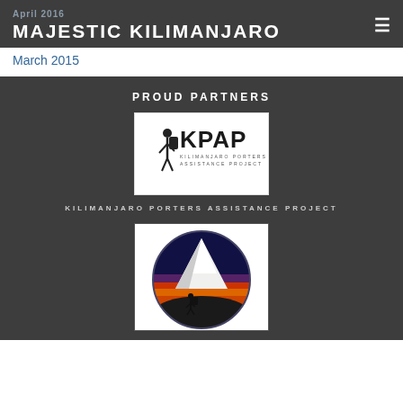MAJESTIC KILIMANJARO
April 2016
March 2015
PROUD PARTNERS
[Figure (logo): KPAP - Kilimanjaro Porters Assistance Project logo on white background]
KILIMANJARO PORTERS ASSISTANCE PROJECT
[Figure (illustration): Circular illustration showing a mountain climber silhouette against a colorful sunset background with a snow-capped mountain peak]